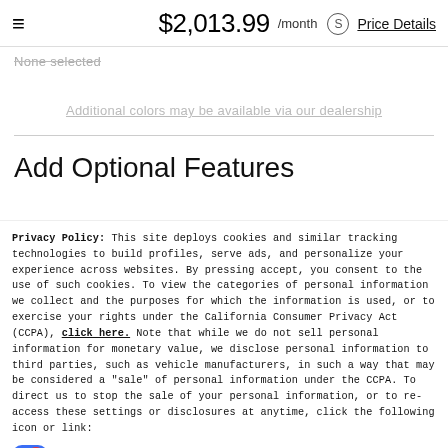≡   $2,013.99 /month  (S) Price Details
None selected
Additional colors may be available via our dealership
Add Optional Features
Privacy Policy: This site deploys cookies and similar tracking technologies to build profiles, serve ads, and personalize your experience across websites. By pressing accept, you consent to the use of such cookies. To view the categories of personal information we collect and the purposes for which the information is used, or to exercise your rights under the California Consumer Privacy Act (CCPA), click here. Note that while we do not sell personal information for monetary value, we disclose personal information to third parties, such as vehicle manufacturers, in such a way that may be considered a "sale" of personal information under the CCPA. To direct us to stop the sale of your personal information, or to re-access these settings or disclosures at anytime, click the following icon or link:
Do Not Sell My Personal Information
Language: English   Powered by ComplyAuto
Accept and Continue →   California Privacy Disclosures